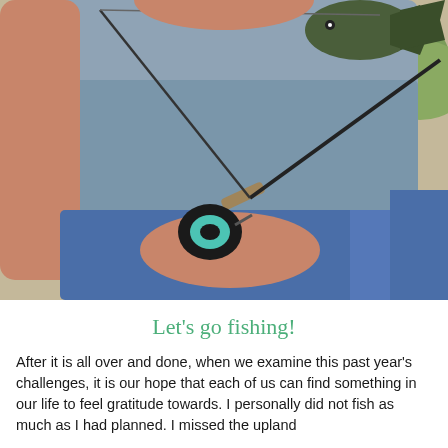[Figure (photo): A person in a gray t-shirt and blue jeans holding a fishing rod with a baitcasting reel in one hand and a caught fish in the other hand raised above, outdoors with dry ground and green vegetation in the background.]
Let’s go fishing!
After it is all over and done, when we examine this past year’s challenges, it is our hope that each of us can find something in our life to feel gratitude towards. I personally did not fish as much as I had planned. I missed the upland